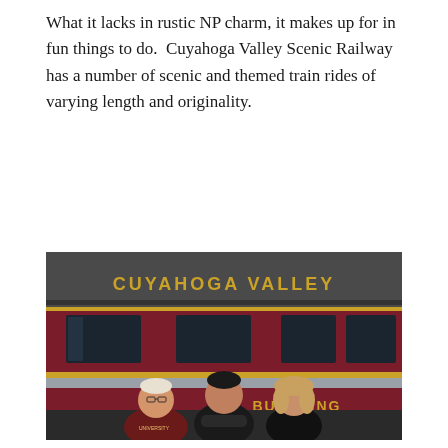What it lacks in rustic NP charm, it makes up for in fun things to do. Cuyahoga Valley Scenic Railway has a number of scenic and themed train rides of varying length and originality.
[Figure (photo): Three people (an older man in a maroon t-shirt, a young man in a black t-shirt with arms crossed, and a young woman in a black top) standing in front of a Cuyahoga Valley scenic railway train car. The red and silver train car reads 'CUYAHOGA VALLEY' on top and 'S.G. BUERLING' on the lower half in gold lettering.]